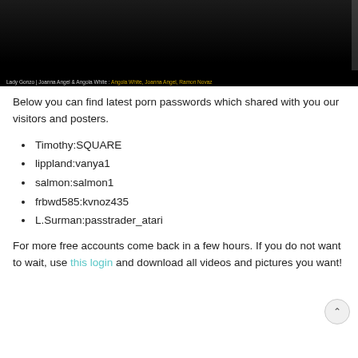[Figure (screenshot): Dark screenshot of a video player with a caption bar at the bottom showing 'Lady Gonzo | Joanna Angel & Angola White :' followed by highlighted text 'Angola White, Joanna Angel, Ramen Novaz']
Below you can find latest porn passwords which shared with you our visitors and posters.
Timothy:SQUARE
lippland:vanya1
salmon:salmon1
frbwd585:kvnoz435
L.Surman:passtrader_atari
For more free accounts come back in a few hours. If you do not want to wait, use this login and download all videos and pictures you want!